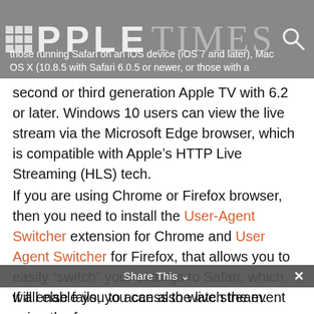those running Safari on an iOS device (iOS 7 and later), Mac OS X (10.8.5 with Safari 6.0.5 or newer, or those with a
second or third generation Apple TV with 6.2 or later. Windows 10 users can view the live stream via the Microsoft Edge browser, which is compatible with Apple’s HTTP Live Streaming (HLS) tech.
If you are using Chrome or Firefox browser, then you need to install the User-Agent Switcher extension for Chrome and User Agent Switcher for Firefox, that allows you to easily “switch” your settings to Safari, which will enable you to access the live stream.
If all else fails, you can also watch the event using the free VLC media player, which is available for Mac, Windows,